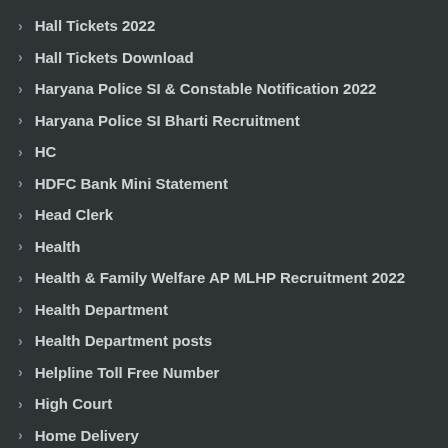Hall Tickets 2022
Hall Tickets Download
Haryana Police SI & Constable Notification 2022
Haryana Police SI Bharti Recruitment
HC
HDFC Bank Mini Statement
Head Clerk
Health
Health & Family Welfare AP MLHP Recruitment 2022
Health Department
Health Department posts
Helpline Toll Free Number
High Court
Home Delivery